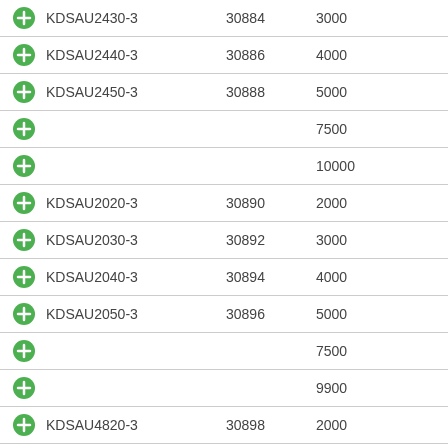KDSAU2430-3  30884  3000
KDSAU2440-3  30886  4000
KDSAU2450-3  30888  5000
7500
10000
KDSAU2020-3  30890  2000
KDSAU2030-3  30892  3000
KDSAU2040-3  30894  4000
KDSAU2050-3  30896  5000
7500
9900
KDSAU4820-3  30898  2000